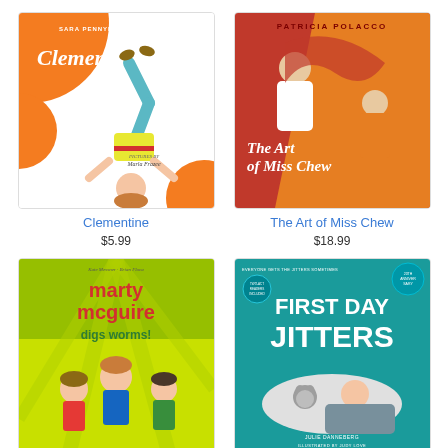[Figure (illustration): Book cover of Clementine by Sara Pennypacker, illustrated by Marla Frazee. Orange circles on white background with a cartoon child doing a handstand.]
Clementine
$5.99
[Figure (illustration): Book cover of The Art of Miss Chew by Patricia Polacco. Red and orange background with illustrated figures of a woman and child.]
The Art of Miss Chew
$18.99
[Figure (illustration): Book cover of Marty McGuire Digs Worms by Kate Messner and Brian Floca. Green and yellow background with cartoon children.]
[Figure (illustration): Book cover of First Day Jitters by Julie Danneberg, illustrated by Judy Love. Teal background with large bold title text and illustrated characters.]